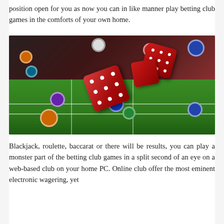position open for you as now you can in like manner play betting club games in the comforts of your own home.
[Figure (photo): Casino dice and poker chips flying over a green felt craps table. Red dice are prominent in the center, surrounded by colorful casino chips of various colors including blue, orange, purple, red, and white.]
Blackjack, roulette, baccarat or there will be results, you can play a monster part of the betting club games in a split second of an eye on a web-based club on your home PC. Online club offer the most eminent electronic wagering, yet